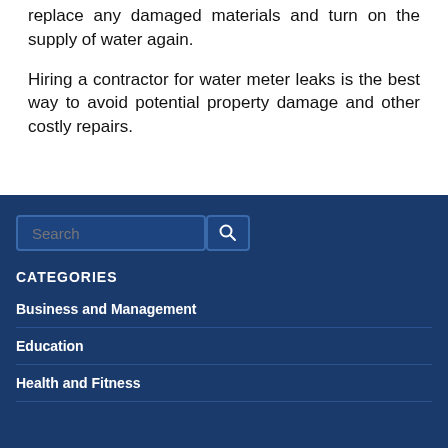replace any damaged materials and turn on the supply of water again.
Hiring a contractor for water meter leaks is the best way to avoid potential property damage and other costly repairs.
CATEGORIES
Business and Management
Education
Health and Fitness